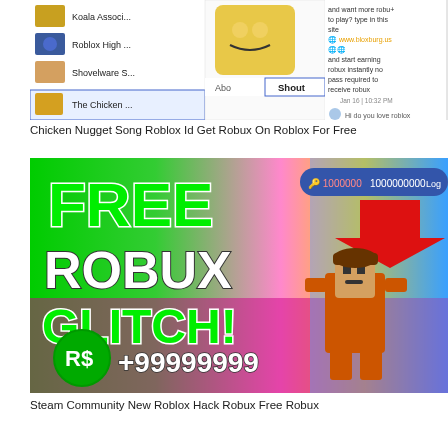[Figure (screenshot): Roblox game/group list and chat screenshot showing Koala Associ..., Roblox High..., Shovelware S..., The Chicken... groups with a chat message about www.bloxburg.us for free robux, and a Shout section]
Chicken Nugget Song Roblox Id Get Robux On Roblox For Free
[Figure (screenshot): Roblox free robux glitch thumbnail showing FREE ROBUX GLITCH! text in green and white, +99999999 robux, a Roblox character in orange, and a counter showing 1000000 / 1000000000]
Steam Community New Roblox Hack Robux Free Robux